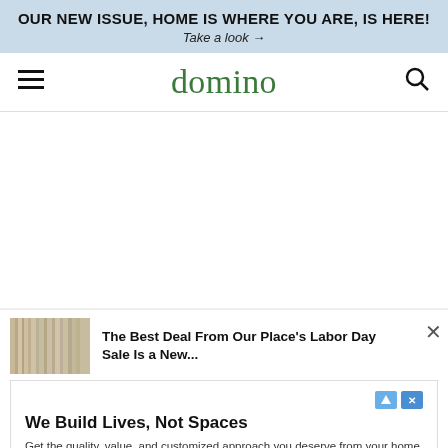OUR NEW ISSUE, HOME IS WHERE YOU ARE, IS HERE! Take a look →
domino
[Figure (screenshot): Blank white content area, likely an ad or image that did not load]
The Best Deal From Our Place's Labor Day Sale Is a New... ×
We Build Lives, Not Spaces
Get the quality, value, and customized approach you deserve from your home builder.
newdimensionsinc.com
Learn More